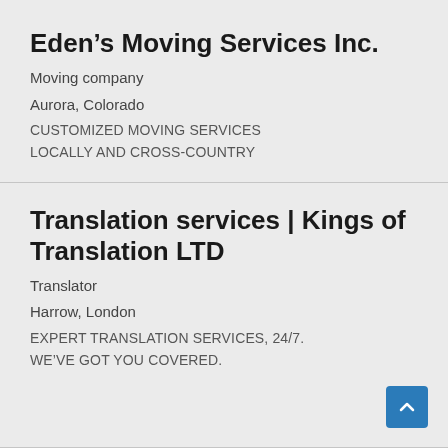Eden's Moving Services Inc.
Moving company
Aurora, Colorado
CUSTOMIZED MOVING SERVICES LOCALLY AND CROSS-COUNTRY
Translation services | Kings of Translation LTD
Translator
Harrow, London
EXPERT TRANSLATION SERVICES, 24/7. WE'VE GOT YOU COVERED.